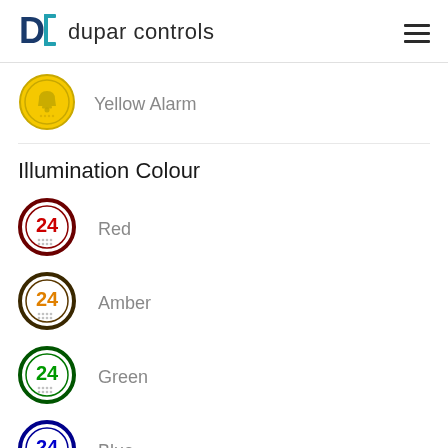dupar controls
[Figure (illustration): Yellow alarm button icon — circular yellow button with a bell symbol and braille dots]
Yellow Alarm
Illumination Colour
[Figure (illustration): Round elevator button with dark red border, white face, red number 24 and braille dots — Red illumination colour]
Red
[Figure (illustration): Round elevator button with dark border, white face, amber/orange number 24 and braille dots — Amber illumination colour]
Amber
[Figure (illustration): Round elevator button with dark green border, white face, green number 24 and braille dots — Green illumination colour]
Green
[Figure (illustration): Round elevator button with dark navy border, white face, blue number 24 and braille dots — Blue illumination colour]
Blue